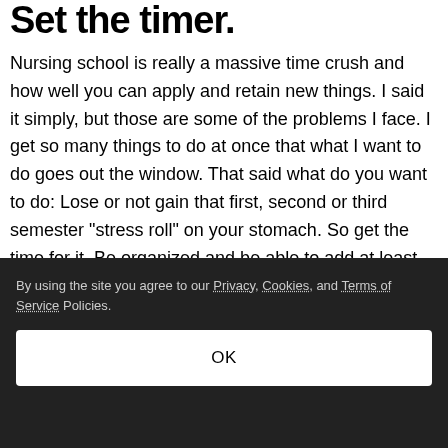Set the timer.
Nursing school is really a massive time crush and how well you can apply and retain new things. I said it simply, but those are some of the problems I face. I get so many things to do at once that what I want to do goes out the window. That said what do you want to do: Lose or not gain that first, second or third semester "stress roll" on your stomach. So get the time for it. Be organized and be able to add at least 5-20
By using the site you agree to our Privacy, Cookies, and Terms of Service Policies.
OK